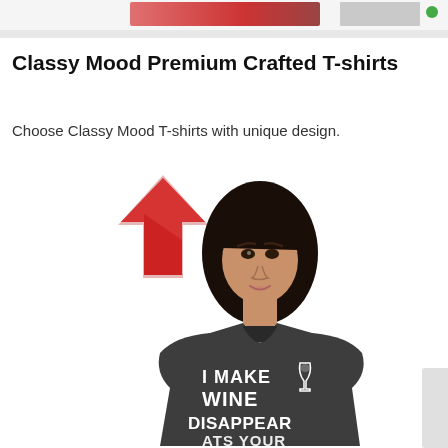[Figure (screenshot): Top banner area with pink/red gradient bar and gray elements]
Classy Mood Premium Crafted T-shirts
Choose Classy Mood T-shirts with unique design.
[Figure (photo): Red upward-pointing arrow emoji/icon next to a woman wearing a dark gray v-neck t-shirt that reads 'I MAKE WINE DISAPPEAR' with a wine glass graphic. The bottom line is partially cut off reading 'ATS YOUR'.]